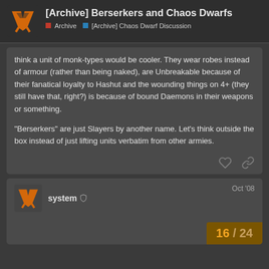[Archive] Berserkers and Chaos Dwarfs — Archive > [Archive] Chaos Dwarf Discussion
think a unit of monk-types would be cooler. They wear robes instead of armour (rather than being naked), are Unbreakable because of their fanatical loyalty to Hashut and the wounding things on 4+ (they still have that, right?) is because of bound Daemons in their weapons or something.

"Berserkers" are just Slayers by another name. Let's think outside the box instead of just lifting units verbatim from other armies.
system  Oct '08
16 / 24